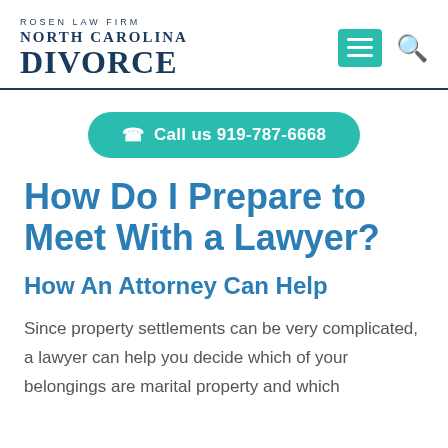[Figure (logo): Rosen Law Firm North Carolina Divorce logo with text 'ROSEN LAW FIRM' above 'NORTH CAROLINA' and large 'DIVORCE' below, navy blue serif font, underlined]
Call us 919-787-6668
How Do I Prepare to Meet With a Lawyer?
How An Attorney Can Help
Since property settlements can be very complicated, a lawyer can help you decide which of your belongings are marital property and which